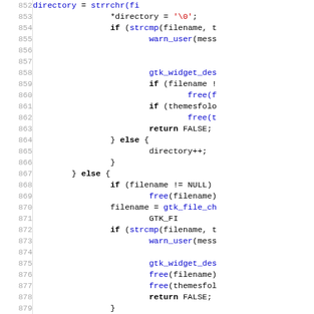[Figure (screenshot): Source code listing showing C code lines 852-881 with line numbers on the left and syntax-highlighted code on the right. Keywords in bold black, function names and identifiers in blue, string literals in red.]